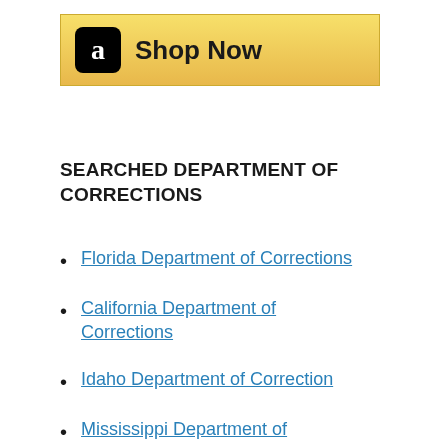[Figure (other): Amazon 'Shop Now' advertisement banner with Amazon logo (black box with white 'a') on a gold/yellow gradient background]
SEARCHED DEPARTMENT OF CORRECTIONS
Florida Department of Corrections
California Department of Corrections
Idaho Department of Correction
Mississippi Department of